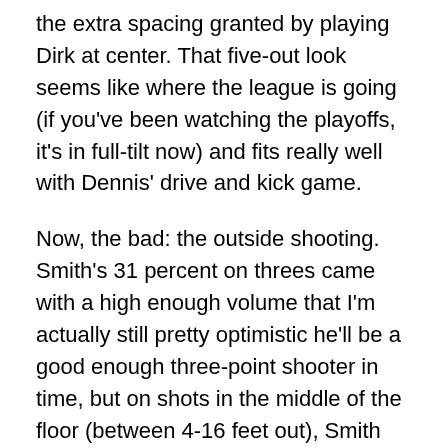the extra spacing granted by playing Dirk at center. That five-out look seems like where the league is going (if you've been watching the playoffs, it's in full-tilt now) and fits really well with Dennis' drive and kick game.

Now, the bad: the outside shooting. Smith's 31 percent on threes came with a high enough volume that I'm actually still pretty optimistic he'll be a good enough three-point shooter in time, but on shots in the middle of the floor (between 4-16 feet out), Smith shot a ghastly 24 percent. Obviously that figure should be better, but to be honest I would recommend Smith cut as many of those out of his shot-diet as possible. Overall, Smith was streaky, and by my eyes he seems to shoot better when in rhythm. He averaged just 0.86 points per possession on spot up attempts, by far the worst of any regular non-big man on the team. To be a